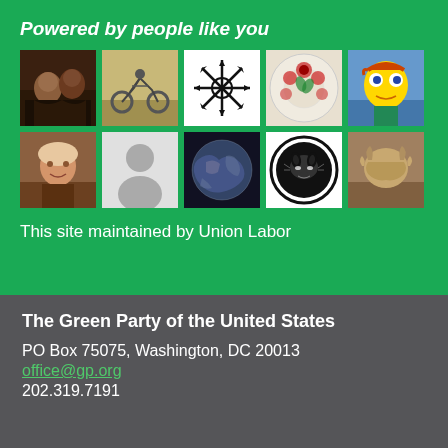Powered by people like you
[Figure (photo): Grid of 10 profile photos/avatars of Green Party supporters, arranged in 2 rows of 5]
This site maintained by Union Labor
The Green Party of the United States
PO Box 75075, Washington, DC 20013
office@gp.org
202.319.7191